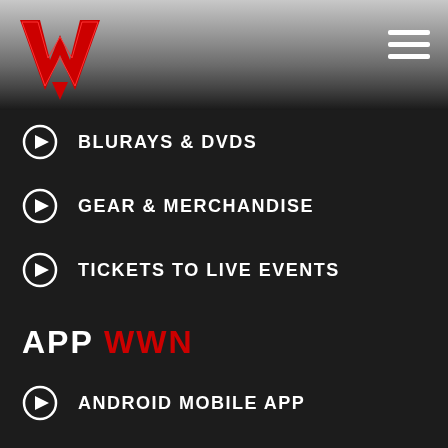[Figure (logo): WWN logo - red double-W checkmark style logo on metallic silver header background with hamburger menu icon on right]
BLURAYS & DVDS
GEAR & MERCHANDISE
TICKETS TO LIVE EVENTS
APP WWN
ANDROID MOBILE APP
IOS MOBILE APP
ROKU
FIRETV
ANDROIDTV